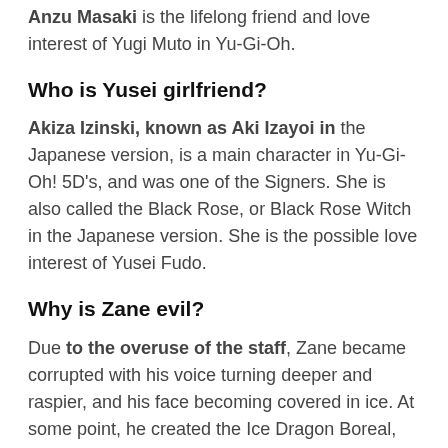Anzu Masaki is the lifelong friend and love interest of Yugi Muto in Yu-Gi-Oh.
Who is Yusei girlfriend?
Akiza Izinski, known as Aki Izayoi in the Japanese version, is a main character in Yu-Gi-Oh! 5D's, and was one of the Signers. She is also called the Black Rose, or Black Rose Witch in the Japanese version. She is the possible love interest of Yusei Fudo.
Why is Zane evil?
Due to the overuse of the staff, Zane became corrupted with his voice turning deeper and raspier, and his face becoming covered in ice. At some point, he created the Ice Dragon Boreal, which became his loyal pet.